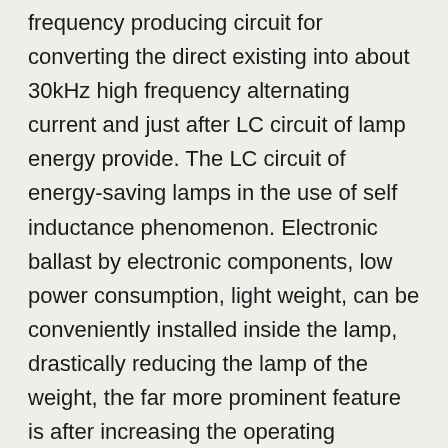frequency producing circuit for converting the direct existing into about 30kHz high frequency alternating current and just after LC circuit of lamp energy provide. The LC circuit of energy-saving lamps in the use of self inductance phenomenon. Electronic ballast by electronic components, low power consumption, light weight, can be conveniently installed inside the lamp, drastically reducing the lamp of the weight, the far more prominent feature is after increasing the operating frequency and not feel the light flicker that is straightforward to begin up, no noise and save electric power. A 9W power saving lamp is equivalent towards the light impact of 60W incandescent lamp. In addition, the lamp can be made into many shapes, can play a decorative effect, so energy-saving lamps in to the interior decoration of fashion lamps. Because of the higher efficiency on the electronic energy saving